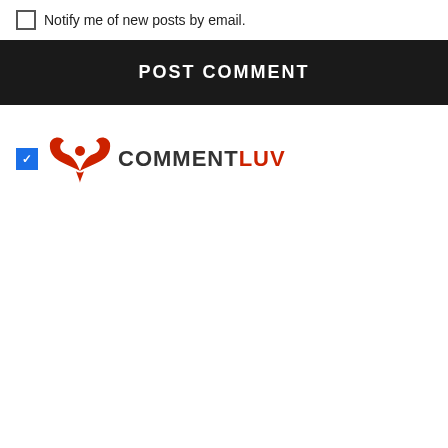Notify me of new posts by email.
[Figure (other): POST COMMENT button — dark background with white uppercase bold text]
[Figure (logo): CommentLuv logo with red phoenix wings icon and text COMMENTLUV (COMMENT in dark, LUV in red), with a blue checked checkbox to the left]